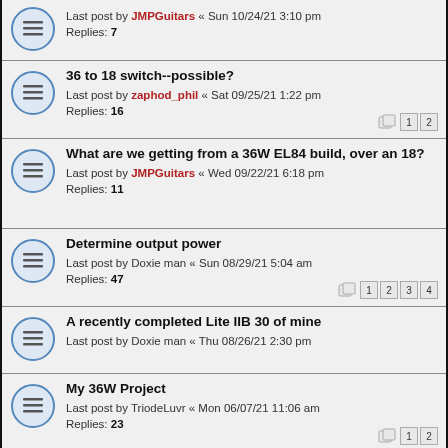Last post by JMPGuitars « Sun 10/24/21 3:10 pm
Replies: 7
36 to 18 switch--possible?
Last post by zaphod_phil « Sat 09/25/21 1:22 pm
Replies: 16
What are we getting from a 36W EL84 build, over an 18?
Last post by JMPGuitars « Wed 09/22/21 6:18 pm
Replies: 11
Determine output power
Last post by Doxie man « Sun 08/29/21 5:04 am
Replies: 47
A recently completed Lite IIB 30 of mine
Last post by Doxie man « Thu 08/26/21 2:30 pm
My 36W Project
Last post by TriodeLuvr « Mon 06/07/21 11:06 am
Replies: 23